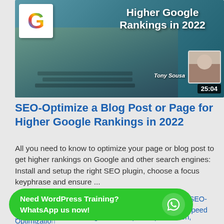[Figure (screenshot): Thumbnail image for a YouTube video titled 'Higher Google Rankings in 2022' showing hands typing on a laptop keyboard with a Google logo overlay, presenter Tony Sousa's avatar, and a duration badge showing 25:04]
SEO-Optimize a Blog Post or Page for Higher Google Rankings in 2022
All you need to know to optimize your page or blog post to get higher rankings on Google and other search engines: Install and setup the right SEO plugin, choose a focus keyphrase and ensure ...
Rank Higher in Google and other Search Engines, SEO-Search Engine Optimization, WordPress, WordPress Speed Optimization
seo keywords, seo writing, website speed optimization, wordpress
Need WordPress Training? WhatsApp us now!